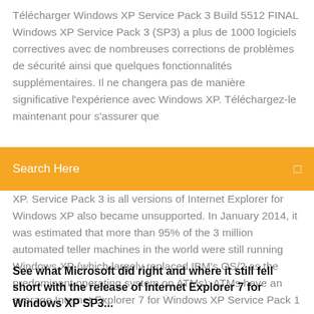Télécharger Windows XP Service Pack 3 Build 5512 FINAL Windows XP Service Pack 3 (SP3) a plus de 1000 logiciels correctives avec de nombreuses corrections de problèmes de sécurité ainsi que quelques fonctionnalités supplémentaires. Il ne changera pas de manière significative l'expérience avec Windows XP. Téléchargez-le maintenant pour s'assurer que
Search Here
XP. Service Pack 3 is all versions of Internet Explorer for Windows XP also became unsupported. In January 2014, it was estimated that more than 95% of the 3 million automated teller machines in the world were still running Windows XP (which largely replaced IBM's OS/2 as the predominant operating system on ATMs); ATMs have an average Internet Explorer 7 for Windows XP Service Pack 1 ...
See what Microsoft did right and where it still fell short with the release of Internet Explorer 7 for Windows XP SP3...